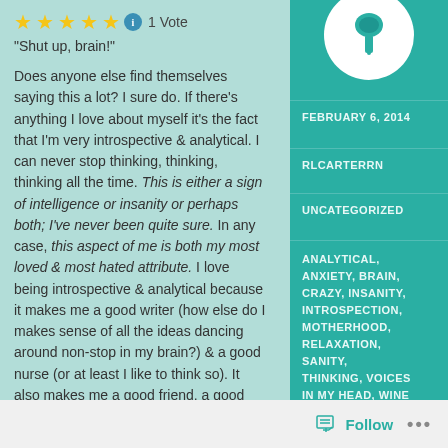★★★★★ ℹ 1 Vote
“Shut up, brain!”
Does anyone else find themselves saying this a lot?  I sure do.  If there's anything I love about myself it's the fact that I'm very introspective & analytical.  I can never stop thinking, thinking, thinking all the time.  This is either a sign of intelligence or insanity or perhaps both; I've never been quite sure.  In any case, this aspect of me is both my most loved & most hated attribute.  I love being introspective & analytical because it makes me a good writer (how else do I makes sense of all the ideas dancing around non-stop in my brain?) & a good nurse (or at least I like to think so).  It also makes me a good friend, a good wife, a good person.
FEBRUARY 6, 2014
RLCARTERRN
UNCATEGORIZED
ANALYTICAL, ANXIETY, BRAIN, CRAZY, INSANITY, INTROSPECTION, MOTHERHOOD, RELAXATION, SANITY, THINKING, VOICES IN MY HEAD, WINE
Follow